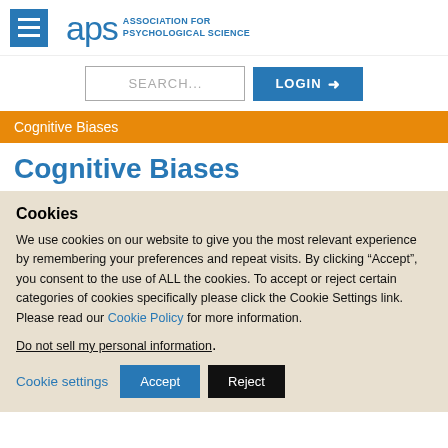APS Association for Psychological Science
SEARCH... LOGIN
Cognitive Biases
Cognitive Biases
Cookies
We use cookies on our website to give you the most relevant experience by remembering your preferences and repeat visits. By clicking “Accept”, you consent to the use of ALL the cookies. To accept or reject certain categories of cookies specifically please click the Cookie Settings link. Please read our Cookie Policy for more information.
Do not sell my personal information.
Cookie settings  Accept  Reject